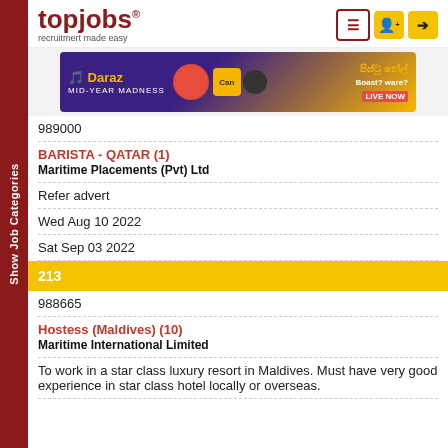[Figure (logo): topjobs logo with tagline 'recruitmert made easy']
[Figure (infographic): Daraz Mid-Year Madness advertisement banner]
989000
BARISTA - QATAR (1)
Maritime Placements (Pvt) Ltd
Refer advert
Wed Aug 10 2022
Sat Sep 03 2022
213
988665
Hostess (Maldives) (10)
Maritime International Limited
To work in a star class luxury resort in Maldives. Must have very good experience in star class hotel locally or overseas.